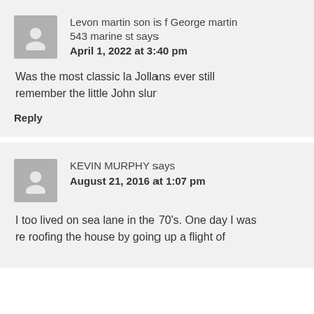Levon martin son is f George martin 543 marine st says
April 1, 2022 at 3:40 pm
Was the most classic la Jollans ever still remember the little John slur
Reply
KEVIN MURPHY says
August 21, 2016 at 1:07 pm
I too lived on sea lane in the 70's. One day I was re roofing the house by going up a flight of